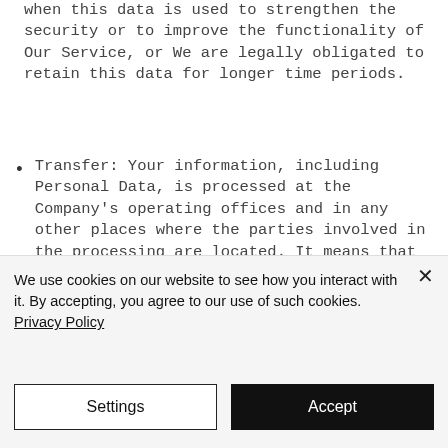when this data is used to strengthen the security or to improve the functionality of Our Service, or We are legally obligated to retain this data for longer time periods.
Transfer: Your information, including Personal Data, is processed at the Company's operating offices and in any other places where the parties involved in the processing are located. It means that this information may be transferred to — and maintained on — computers located outside of Your state,
We use cookies on our website to see how you interact with it. By accepting, you agree to our use of such cookies. Privacy Policy